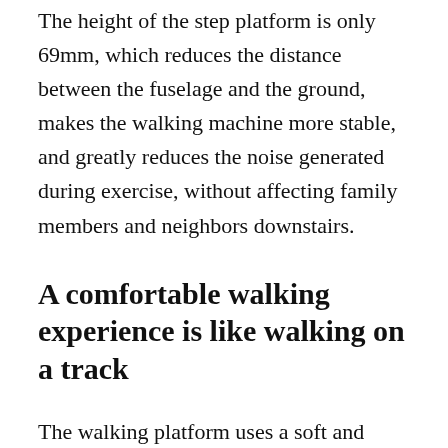The height of the step platform is only 69mm, which reduces the distance between the fuselage and the ground, makes the walking machine more stable, and greatly reduces the noise generated during exercise, without affecting family members and neighbors downstairs.
A comfortable walking experience is like walking on a track
The walking platform uses a soft and comfortable EVA cushioning layer and a friction-reducing wear-resistant layer. The foot feels comfortable and elastic, cushioning, and protecting joints.